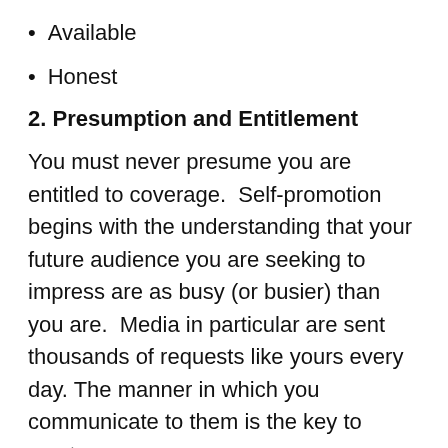Available
Honest
2. Presumption and Entitlement
You must never presume you are entitled to coverage.  Self-promotion begins with the understanding that your future audience you are seeking to impress are as busy (or busier) than you are.  Media in particular are sent thousands of requests like yours every day. The manner in which you communicate to them is the key to mastery.
3. Build Relationships and Trust